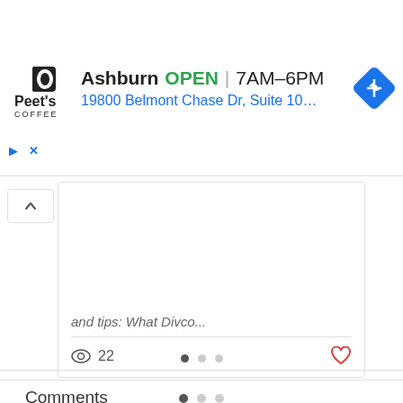[Figure (screenshot): Peet's Coffee advertisement banner showing Ashburn location: OPEN 7AM-6PM, 19800 Belmont Chase Dr, Suite 100, A..., with navigation icon]
and tips: What Divco...
22
[Figure (other): Pagination indicator with three dots, first dot active (dark), two inactive (grey)]
Comments
Write a comment...
Our Story